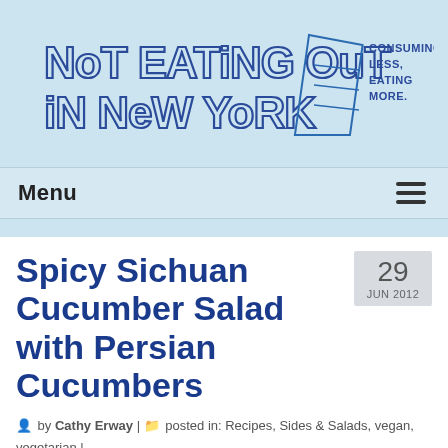[Figure (logo): Hand-drawn style logo reading 'Not Eating Out In New York' with tagline 'Consuming Less, Eating More.' in blue outline lettering on light blue background]
Menu
Spicy Sichuan Cucumber Salad with Persian Cucumbers
29 JUN 2012
by Cathy Erway | posted in: Recipes, Sides & Salads, vegan, vegetarian | 4
This cold appetizer is an extreme balance of yin and yang: cold,